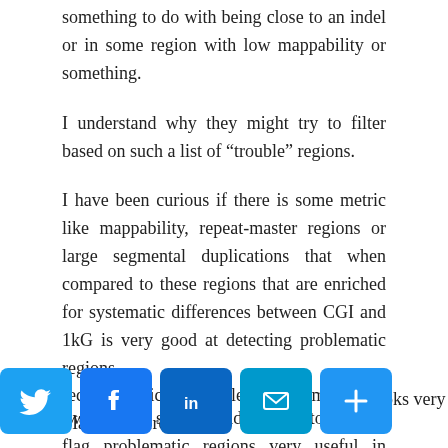something to do with being close to an indel or in some region with low mappability or something.
I understand why they might try to filter based on such a list of “trouble” regions.
I have been curious if there is some metric like mappability, repeat-master regions or large segmental duplications that when compared to these regions that are enriched for systematic differences between CGI and 1kG is very good at detecting problematic regions.
I would find such a validated tool to score or flag problematic regions very useful in analysis.
One approach that looks very promising was in a recent publication called “Genomic Dark Matter” where
[Figure (other): Social media sharing icons bar: Twitter (blue bird icon), Facebook (blue f icon), LinkedIn (blue in icon), Email (teal envelope icon), Share/AddThis (blue plus icon)]